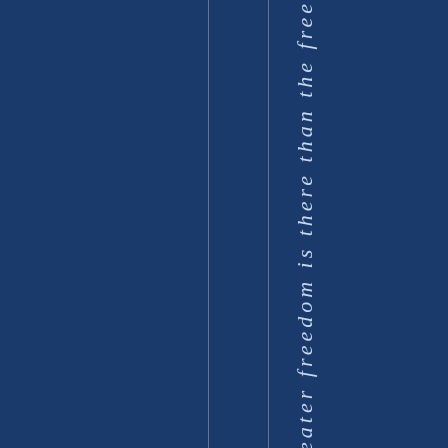eater freedom is there than the free